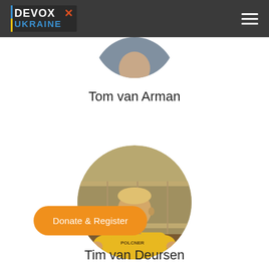Devox Ukraine
[Figure (photo): Circular cropped headshot of Tom van Arman, partially visible at top of page]
Tom van Arman
[Figure (photo): Circular photo of Tim van Deursen wearing a yellow t-shirt, speaking at an event]
Tim van Deursen
Donate & Register